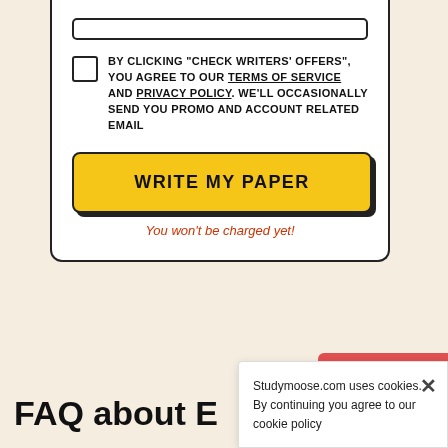[Figure (screenshot): Partial input bar at top of card]
BY CLICKING "CHECK WRITERS' OFFERS", YOU AGREE TO OUR TERMS OF SERVICE AND PRIVACY POLICY. WE'LL OCCASIONALLY SEND YOU PROMO AND ACCOUNT RELATED EMAIL
WRITE MY PAPER
You won't be charged yet!
FAQ about E…
Live chat
Studymoose.com uses cookies. By continuing you agree to our cookie policy